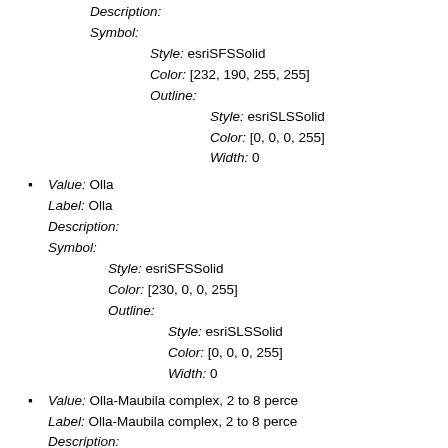Description:
Symbol:
  Style: esriSFSSolid
  Color: [232, 190, 255, 255]
  Outline:
    Style: esriSLSSolid
    Color: [0, 0, 0, 255]
    Width: 0
Value: Olla
Label: Olla
Description:
Symbol:
  Style: esriSFSSolid
  Color: [230, 0, 0, 255]
  Outline:
    Style: esriSLSSolid
    Color: [0, 0, 0, 255]
    Width: 0
Value: Olla-Maubila complex, 2 to 8 perce
Label: Olla-Maubila complex, 2 to 8 perce
Description:
Symbol:
  Style: esriSFSSolid
  Color: [230, 0, 0, 255]
  Outline:
    Style: esriSLSSolid
    Color: [0, 0, 0, 255]
    Width: 0